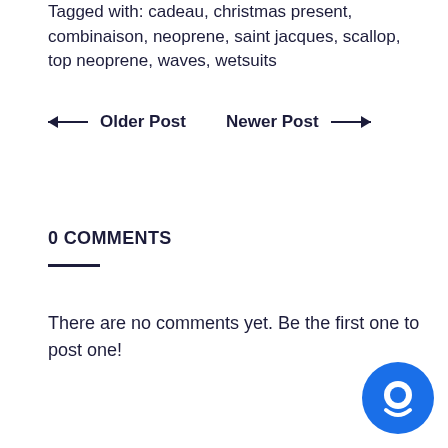Tagged with: cadeau, christmas present, combinaison, neoprene, saint jacques, scallop, top neoprene, waves, wetsuits
← Older Post   Newer Post →
0 COMMENTS
There are no comments yet. Be the first one to post one!